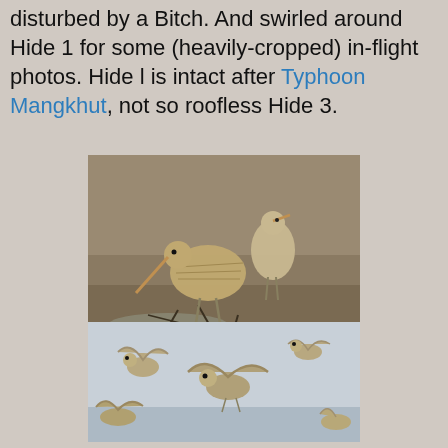disturbed by a Bitch. And swirled around Hide 1 for some (heavily-cropped) in-flight photos. Hide l is intact after Typhoon Mangkhut, not so roofless Hide 3.
[Figure (photo): Two Bar-tailed Godwits standing on mudflat. One bird in foreground with long bill probing mud, another standing behind. Muddy wetland habitat with scattered vegetation.]
Bar-tailed Godwit - Limosa lapponica
[Figure (photo): Multiple shorebirds (likely Pacific Golden Plovers or similar) in flight, wings spread, captured mid-air over water. Several birds visible at different angles showing wing patterns.]